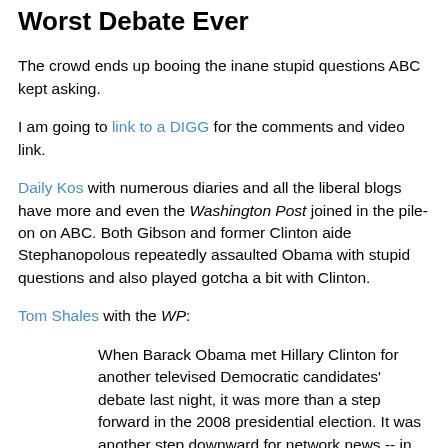Worst Debate Ever
The crowd ends up booing the inane stupid questions ABC kept asking.
I am going to link to a DIGG for the comments and video link.
Daily Kos with numerous diaries and all the liberal blogs have more and even the Washington Post joined in the pile-on on ABC. Both Gibson and former Clinton aide Stephanopolous repeatedly assaulted Obama with stupid questions and also played gotcha a bit with Clinton.
Tom Shales with the WP:
When Barack Obama met Hillary Clinton for another televised Democratic candidates' debate last night, it was more than a step forward in the 2008 presidential election. It was another step downward for network news -- in particular ABC News, which hosted the debate from